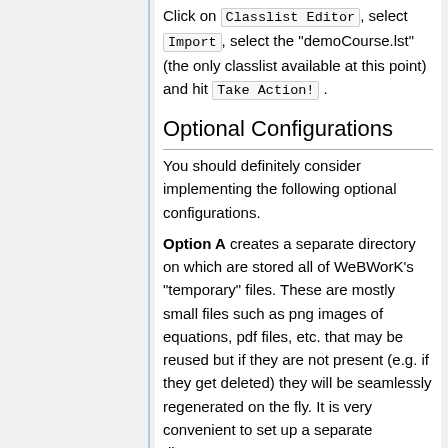Click on Classlist Editor, select Import, select the "demoCourse.lst" (the only classlist available at this point) and hit Take Action! .
Optional Configurations
You should definitely consider implementing the following optional configurations.
Option A creates a separate directory on which are stored all of WeBWorK's "temporary" files. These are mostly small files such as png images of equations, pdf files, etc. that may be reused but if they are not present (e.g. if they get deleted) they will be seamlessly regenerated on the fly. It is very convenient to set up a separate directory